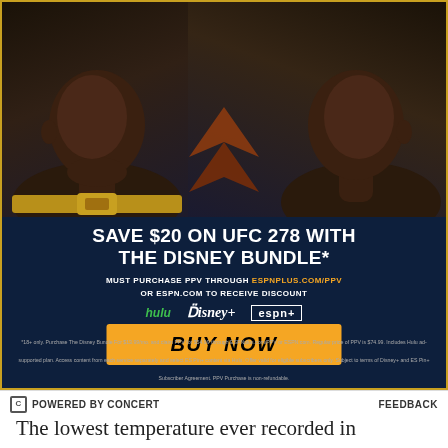[Figure (photo): Advertisement for UFC 278 showing two fighters facing off. Dark blue background with gold border. Two MMA fighters facing each other with chevron design in background.]
SAVE $20 ON UFC 278 WITH THE DISNEY BUNDLE*
MUST PURCHASE PPV THROUGH ESPNPLUS.COM/PPV OR ESPN.COM TO RECEIVE DISCOUNT
[Figure (logo): Hulu, Disney+, and ESPN+ logos displayed in a row]
BUY NOW
*18+ only. Purchase The Disney Bundle For $13.99/mo. and claim PPV for $54.99 through ESPNplus.com/PPV or ESPN.com. Regular price of PPV is $74.99. Includes Hulu ad-supported plan. Access content from each service separately and select ES Pin+ content via Hulu. Offer valid for eligible subscribers only. Subject to terms of Disney+ and ES Pin+ Subscriber Agreement. PPV Purchase is non-refundable.
POWERED BY CONCERT    FEEDBACK
The lowest temperature ever recorded in Charlotte